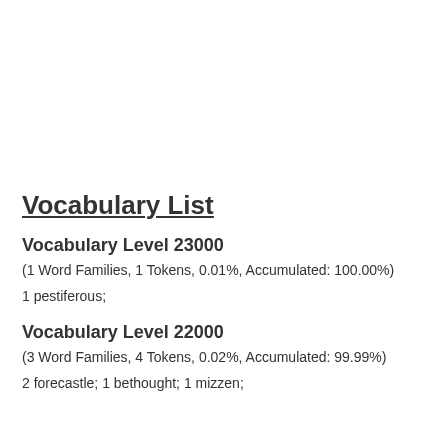Vocabulary List
Vocabulary Level 23000
(1 Word Families, 1 Tokens, 0.01%, Accumulated: 100.00%)
1 pestiferous;
Vocabulary Level 22000
(3 Word Families, 4 Tokens, 0.02%, Accumulated: 99.99%)
2 forecastle; 1 bethought; 1 mizzen;